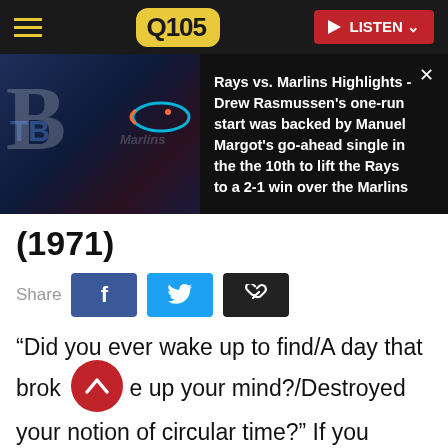Q105 — LISTEN
[Figure (screenshot): News banner showing Tampa Bay Rays vs Miami Marlins logos on dark background with headline text about game highlights]
Rays vs. Marlins Highlights - Drew Rasmussen's one-run start was backed by Manuel Margot's go-ahead single in the the 10th to lift the Rays to a 2-1 win over the Marlins
(1971)
Share
“Did you ever wake up to find/A day that broke up your mind?/Destroyed your notion of circular time?” If you presented those lyrics to someone who isn’t familiar with the Rolling Stones, they might think it was the opening verse of a song written during lockdown